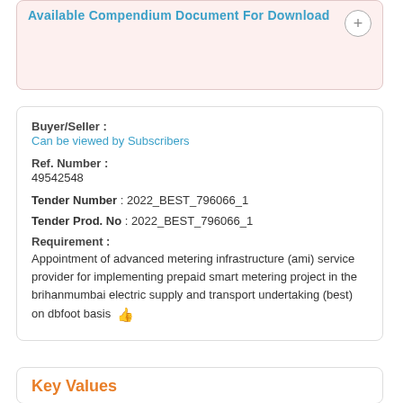Available Compendium Document For Download
Buyer/Seller :
Can be viewed by Subscribers
Ref. Number :
49542548
Tender Number : 2022_BEST_796066_1
Tender Prod. No : 2022_BEST_796066_1
Requirement :
Appointment of advanced metering infrastructure (ami) service provider for implementing prepaid smart metering project in the brihanmumbai electric supply and transport undertaking (best) on dbfoot basis 👍
Key Values